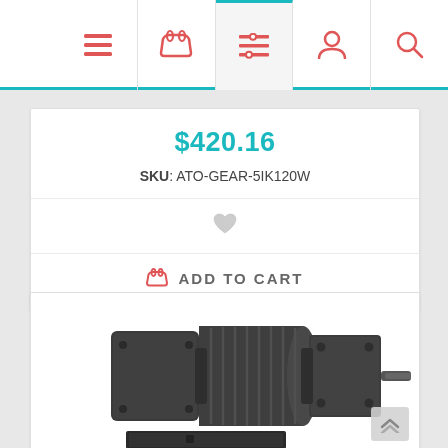[Figure (screenshot): Top navigation bar with icons: hamburger menu, shopping basket, filter/list, user profile, and search magnifier. The filter/list icon cell is highlighted with a teal top border.]
$420.16
SKU: ATO-GEAR-5IK120W
[Figure (illustration): Heart/wishlist icon in gray]
ADD TO CART
[Figure (photo): A dark gray industrial AC gear motor with ribbed cylindrical body and square flange output, shown at an angle. Below it is a partially visible flat metal bracket/base plate. A scroll-to-top button with double chevron up arrows is overlaid at the bottom right.]